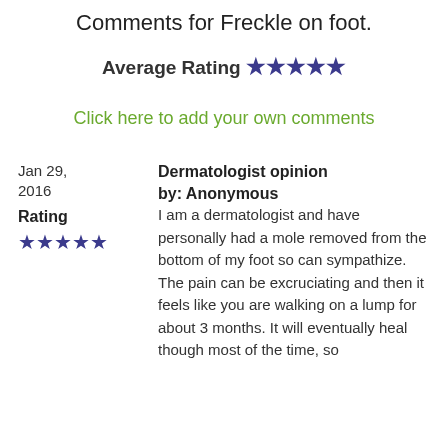Comments for Freckle on foot.
Average Rating ★★★★★
Click here to add your own comments
Jan 29, 2016
Rating
★★★★★
Dermatologist opinion
by: Anonymous
I am a dermatologist and have personally had a mole removed from the bottom of my foot so can sympathize. The pain can be excruciating and then it feels like you are walking on a lump for about 3 months. It will eventually heal though most of the time, so